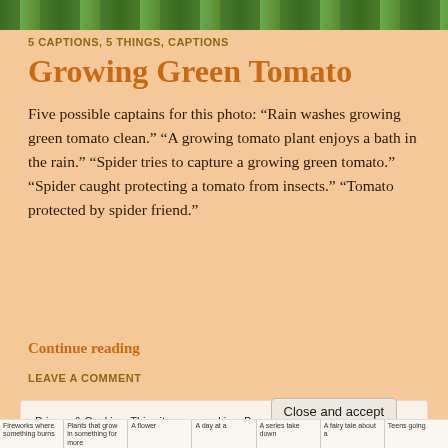[Figure (photo): Green tomato plant leaves photo strip at top of page]
5 CAPTIONS, 5 THINGS, CAPTIONS
Growing Green Tomato
Five possible captains for this photo: “Rain washes growing green tomato clean.” “A growing tomato plant enjoys a bath in the rain.” “Spider tries to capture a growing green tomato.” “Spider caught protecting a tomato from insects.” “Tomato protected by spider friend.”
Continue reading
LEAVE A COMMENT
Privacy & Cookies: This site uses cookies. By continuing to use this website, you agree to their use. To find out more, including how to control cookies, see here: Cookie Policy
Close and accept
| Fireworks where something burns | Plants that grow in something for more | A flower | A day at a | A series take down | A fairy tale about a | Teens going |
| --- | --- | --- | --- | --- | --- | --- |